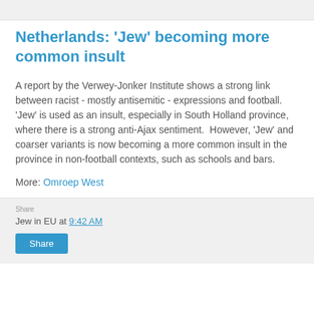Netherlands: 'Jew' becoming more common insult
A report by the Verwey-Jonker Institute shows a strong link between racist - mostly antisemitic - expressions and football.  'Jew' is used as an insult, especially in South Holland province, where there is a strong anti-Ajax sentiment.  However, 'Jew' and coarser variants is now becoming a more common insult in the province in non-football contexts, such as schools and bars.
More: Omroep West
Jew in EU at 9:42 AM
Share